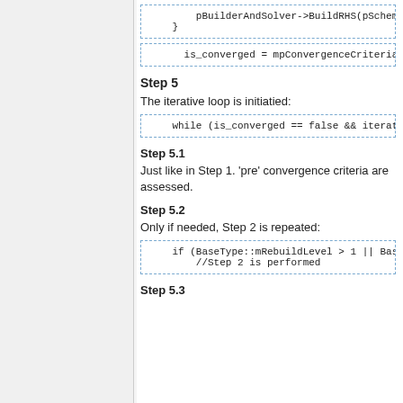[Figure (screenshot): Code block showing: pBuilderAndSolver->BuildRHS(pScheme, followed by closing brace]
[Figure (screenshot): Code block showing: is_converged = mpConvergenceCriteria->Po...]
Step 5
The iterative loop is initiatied:
[Figure (screenshot): Code block showing: while (is_converged == false && iteratio...]
Step 5.1
Just like in Step 1. 'pre' convergence criteria are assessed.
Step 5.2
Only if needed, Step 2 is repeated:
[Figure (screenshot): Code block showing: if (BaseType::mRebuildLevel > 1 || BaseTy... //Step 2 is performed]
Step 5.3